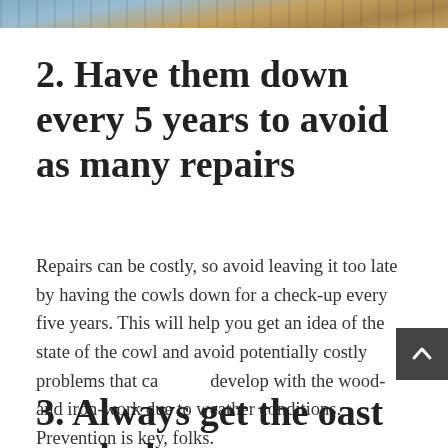[Figure (photo): Partial photo strip at the top of the page showing what appears to be a rooftop or outdoor structure with sky in the background]
2. Have them down every 5 years to avoid as many repairs
Repairs can be costly, so avoid leaving it too late by having the cowls down for a check-up every five years. This will help you get an idea of the state of the cowl and avoid potentially costly problems that can develop with the wood- and iron-work due to weather conditions. Prevention is key, folks.
3. Always get the oast cowls down to refurbish